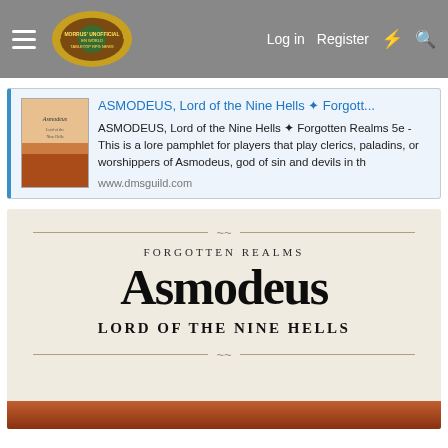Morrus' Unofficial Tabletop RPG News — Log in | Register
ASMODEUS, Lord of the Nine Hells ✦ Forgott...
ASMODEUS, Lord of the Nine Hells ✦ Forgotten Realms 5e - This is a lore pamphlet for players that play clerics, paladins, or worshippers of Asmodeus, god of sin and devils in th
www.dmsguild.com
[Figure (illustration): Book cover showing Asmodeus figure with fire, cream/beige background with ornamental text]
Forgotten Realms
Asmodeus
Lord of the Nine Hells